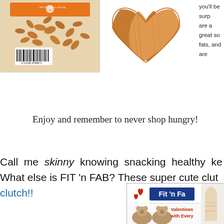[Figure (photo): Bag of almonds product photo]
[Figure (photo): Two almonds arranged in a heart shape]
you'll be surp are a great so fats, and are
Enjoy and remember to never shop hungry!
Call me skinny knowing snacking healthy ke What else is FIT 'n FAB? These super cute clut clutch!!
[Figure (photo): Fit 'n Fab Valentine's promotional banner with hearts, teddy bears, and a pointing hand illustration]